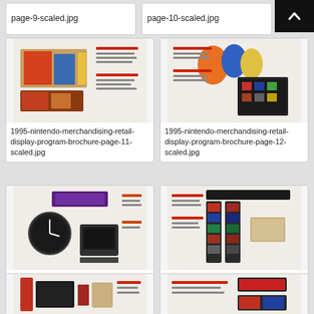page-9-scaled.jpg
page-10-scaled.jpg
[Figure (screenshot): Thumbnail of page 11 showing Nintendo merchandise retail display brochure with colorful game cartridge packaging]
1995-nintendo-merchandising-retail-display-program-brochure-page-11-scaled.jpg
[Figure (screenshot): Thumbnail of page 12 showing Nintendo merchandise retail display brochure with Mario characters and display unit]
1995-nintendo-merchandising-retail-display-program-brochure-page-12-scaled.jpg
[Figure (screenshot): Thumbnail of page 13 showing Nintendo merchandise retail display brochure with clock, display stands and accessories]
1995-nintendo-merchandising-retail-display-program-brochure-page-13-scaled.jpg
[Figure (screenshot): Thumbnail of page 14 showing Nintendo merchandise retail display brochure with display racks and accessory towers]
1995-nintendo-merchandising-retail-display-program-brochure-page-14-scaled.jpg
[Figure (screenshot): Partial thumbnail of page 15 showing Nintendo merchandise retail display brochure]
[Figure (screenshot): Partial thumbnail of page 16 showing Nintendo merchandise retail display brochure]